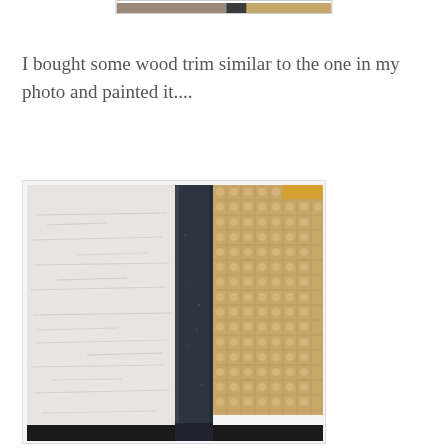[Figure (photo): Partial view of a painted wood trim piece showing white distressed/textured wood on the left, a dark navy/black painted trim molding in the center, and a woven burlap or natural fiber texture on the right, with a dark surface at the bottom.]
I bought some wood trim similar to the one in my photo and painted it....
[Figure (photo): Close-up photo of painted wood trim: left side shows white distressed painted wood with visible grain texture, center shows a dark navy blue/black painted trim molding piece, and right side shows a tan woven burlap or basket-weave textured surface, with dark surface at the bottom.]